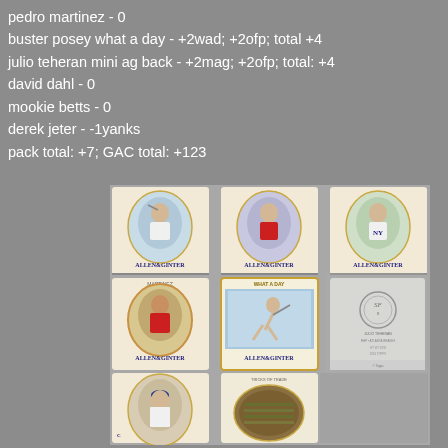pedro martinez - 0
buster posey what a day - +2wad; +2ofp; total +4
julio teheran mini ag back - +2mag; +2ofp; total: +4
david dahl - 0
mookie betts - 0
derek jeter - -1yanks
pack total: +7; GAC total: +123
[Figure (photo): Grid of Allen & Ginter baseball trading cards showing players including Dahl, Betts, Jeter (top row), Martinez, Buster Posey 'What a Day' variant, and a card back (middle row), and two partial cards (bottom row including Lester and a Tricks of the Trade card).]